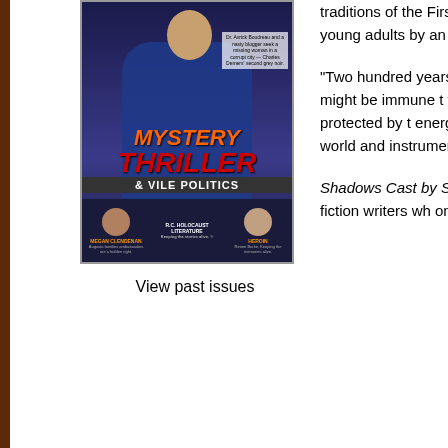[Figure (photo): Book cover for 'Mystery Thriller & Vile Politics' featuring a man in a blue jacket, with author photos at the bottom]
View past issues
traditions of the First Peoples and Arthurian legend, into the novel from 2012 is significant story for young adults by an successful after it was publi...
"Two hundred years from now the planet—especially the blood in them from the Plague ravaged... Mercredi might be immune to... forces are searching for those... search threatens Cassandra's idyllic territory protected by the energy barrier that keeps out... healer has taken her under... creatures of the spirit world... and instrument..."
Shadows Cast by Stars was... Inuit Literature and the Mon... She has been one of seven... supportive fiction writers who... on Vancouver Island.